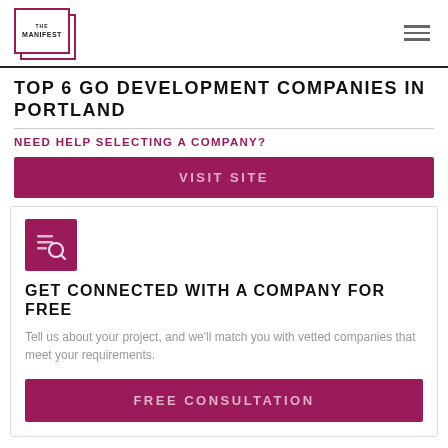THE MANIFEST
TOP 6 GO DEVELOPMENT COMPANIES IN PORTLAND
NEED HELP SELECTING A COMPANY?
VISIT SITE
[Figure (logo): Search/filter icon on dark magenta background]
GET CONNECTED WITH A COMPANY FOR FREE
Tell us about your project, and we'll match you with vetted companies that meet your requirements.
FREE CONSULTATION